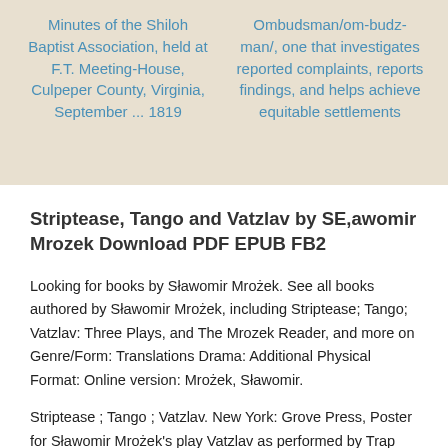Minutes of the Shiloh Baptist Association, held at F.T. Meeting-House, Culpeper County, Virginia, September ... 1819
Ombudsman/om-budz-man/, one that investigates reported complaints, reports findings, and helps achieve equitable settlements
Striptease, Tango and Vatzlav by SE,awomir Mrozek Download PDF EPUB FB2
Looking for books by Sławomir Mrożek. See all books authored by Sławomir Mrożek, including Striptease; Tango; Vatzlav: Three Plays, and The Mrozek Reader, and more on Genre/Form: Translations Drama: Additional Physical Format: Online version: Mrożek, Sławomir.
Striptease ; Tango ; Vatzlav. New York: Grove Press, Poster for Sławomir Mrożek's play Vatzlav as performed by Trap Door Theater, a Chicago based avant-garde group The Mrożek Reader - outstanding collection of plays and stories from Eastern Europe's preeminent